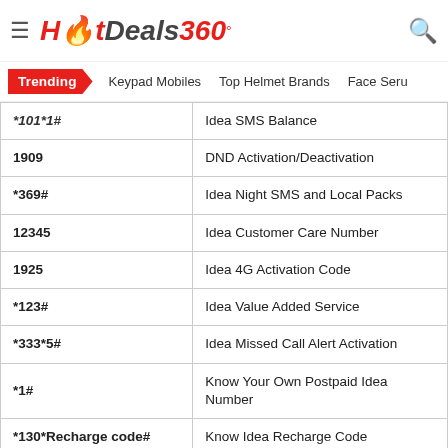HotDeals360
Trending | Keypad Mobiles | Top Helmet Brands | Face Seru
| Code | Description |
| --- | --- |
| *101*1# | Idea SMS Balance |
| 1909 | DND Activation/Deactivation |
| *369# | Idea Night SMS and Local Packs |
| 12345 | Idea Customer Care Number |
| 1925 | Idea 4G Activation Code |
| *123# | Idea Value Added Service |
| *333*5# | Idea Missed Call Alert Activation |
| *1# | Know Your Own Postpaid Idea Number |
| *130*Recharge code# | Know Idea Recharge Code |
| *567*< Receiver No > Space <Amount># | Idea Balance Transfer Code |